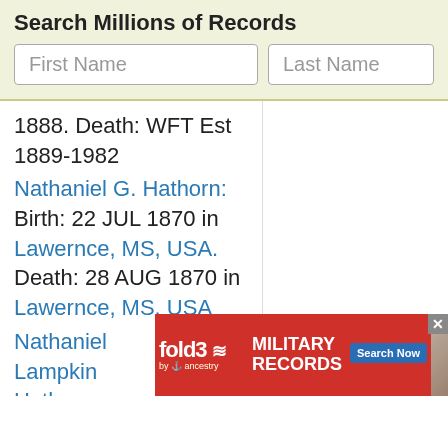Search Millions of Records
First Name
Last Name
1888. Death: WFT Est 1889-1982
Nathaniel G. Hathorn: Birth: 22 JUL 1870 in Lawernce, MS, USA. Death: 28 AUG 1870 in Lawernce, MS, USA
Nathaniel Lampkin Hathorn
[Figure (screenshot): fold3 Military Records advertisement banner with red background, soldier photo, and Search Now button]